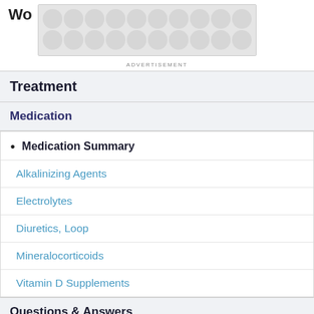Treatment
Medication
Medication Summary
Alkalinizing Agents
Electrolytes
Diuretics, Loop
Mineralocorticoids
Vitamin D Supplements
Questions & Answers